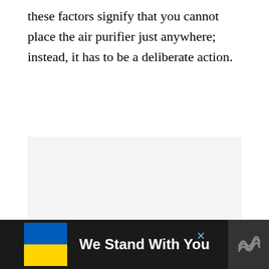these factors signify that you cannot place the air purifier just anywhere; instead, it has to be a deliberate action.
[Figure (other): Light gray placeholder rectangle representing an embedded image area on the page.]
[Figure (other): Dark advertisement banner at the bottom of the page. Contains Ukrainian flag (blue and yellow halves), bold text 'We Stand With You', a close/X button, and a dark logo panel with stacked wave icon on the right.]